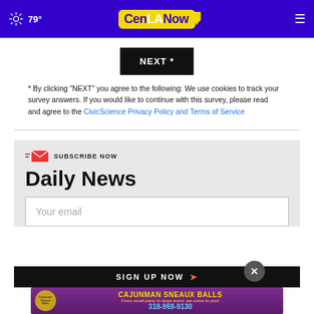79° CenLANow
[Figure (screenshot): NEXT * button, black background with white text]
* By clicking "NEXT" you agree to the following: We use cookies to track your survey answers. If you would like to continue with this survey, please read and agree to the CivicScience Privacy Policy and Terms of Service
[Figure (infographic): Subscribe Now section with Daily News heading, email input field, Sign Up Now button, and Cajunman Sneaux Balls advertisement banner]